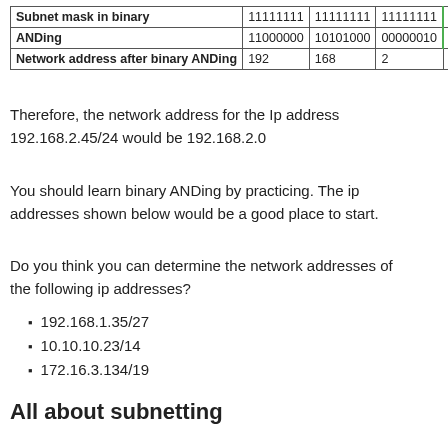|  | Col1 | Col2 | Col3 | Col4 |
| --- | --- | --- | --- | --- |
| Subnet mask in binary | 11111111 | 11111111 | 11111111 | 00000000 |
| ANDing | 11000000 | 10101000 | 00000010 | 00000000 |
| Network address after binary ANDing | 192 | 168 | 2 | 0 |
Therefore, the network address for the Ip address 192.168.2.45/24 would be 192.168.2.0
You should learn binary ANDing by practicing. The ip addresses shown below would be a good place to start.
Do you think you can determine the network addresses of the following ip addresses?
192.168.1.35/27
10.10.10.23/14
172.16.3.134/19
All about subnetting
So now that we understand how to convert ip addresses